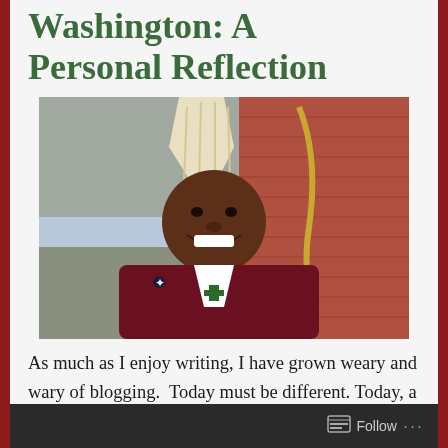Washington: A Personal Reflection
[Figure (photo): A smiling African American Catholic archbishop wearing white mitre and maroon vestments, holding a golden crozier, photographed outdoors in front of a brick building]
As much as I enjoy writing, I have grown weary and wary of blogging.  Today must be different. Today, a man with whom I have prayed, worked, and socialized for some twenty years has officially been named the seventh archbishop of the
Follow